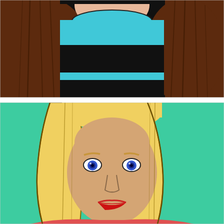[Figure (illustration): Cartoon illustration of a person with long brown hair wearing a black and cyan/teal striped top, shown from shoulders up against a cyan/teal and black striped background. Only the neck and lower chin area of the face is visible.]
[Figure (illustration): Cartoon illustration of a woman with long blonde hair and blue eyes, light skin tone, red lips, against a mint/teal green background. The portrait shows her face and upper body.]